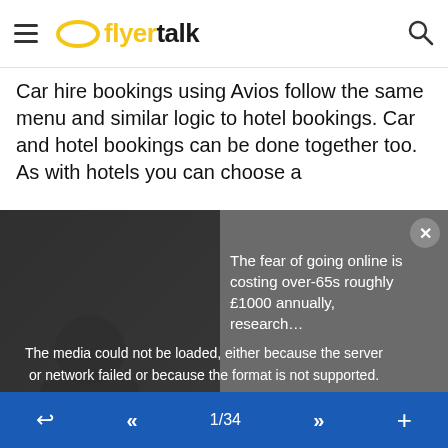flyertalk
Car hire bookings using Avios follow the same menu and similar logic to hotel bookings. Car and hotel bookings can be done together too. As with hotels you can choose a
[Figure (screenshot): Media player error overlay showing 'The media could not be loaded, either because the server or network failed or because the format is not supported.' with an advertisement for 'The fear of going online is costing over-65s roughly £1000 annually, research...' and a close X button]
available to BAEC members in certain countries.
Introduction | Standard reward flights | Multi-Partner reward flights | Reward Flight Saver | Avios & Money | Upgrading using Avios | Avios part payment | Using your companion vouchers | Additional Gold benefits | Hotel and car rental redemptions
1/34